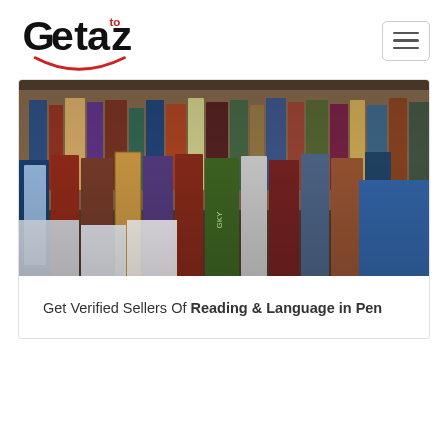[Figure (logo): Getaoz logo with stylized text and red smile arc]
[Figure (photo): A photo of many colorful books arranged in a bookstore or library display, shot at a shallow depth of field]
Get Verified Sellers Of Reading & Language in Pen